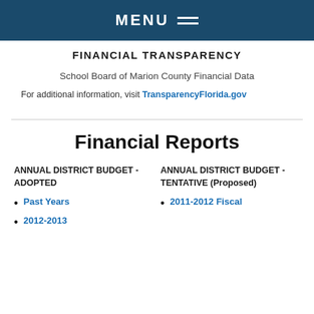MENU
FINANCIAL TRANSPARENCY
School Board of Marion County Financial Data
For additional information, visit TransparencyFlorida.gov
Financial Reports
ANNUAL DISTRICT BUDGET - ADOPTED
ANNUAL DISTRICT BUDGET - TENTATIVE (Proposed)
Past Years
2012-2013
2011-2012 Fiscal